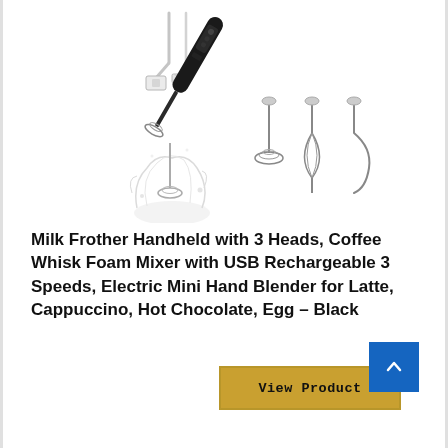[Figure (photo): Product photo of a handheld milk frother with USB cable, main frother device (black), and three interchangeable heads (flat whisk, balloon whisk, hook/spiral). The main frother is shown in use frothing milk, creating splashes.]
Milk Frother Handheld with 3 Heads, Coffee Whisk Foam Mixer with USB Rechargeable 3 Speeds, Electric Mini Hand Blender for Latte, Cappuccino, Hot Chocolate, Egg – Black
View Product